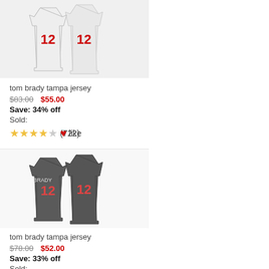[Figure (photo): White #12 football jersey product image]
tom brady tampa jersey
$83.00  $55.00
Save: 34% off
Sold:
(722)  like
[Figure (photo): Dark #12 football jersey product image]
tom brady tampa jersey
$78.00  $52.00
Save: 33% off
Sold:
(852)  like